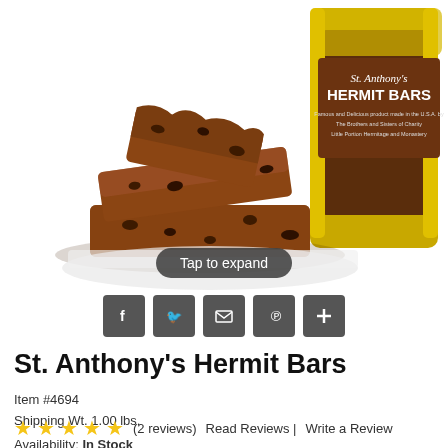[Figure (photo): Product photo showing St. Anthony's Hermit Bars: a stack of chocolate brownie-like cookie bars on the left, and a gold/brown packaging bag labeled 'St. Anthony's HERMIT BARS' on the right with text 'Famous and Delicious product made in the U.S.A. by The Brothers and Sisters of Charity Little Portion Hermitage and Monastery']
Tap to expand
[Figure (other): Social share buttons row: Facebook, Twitter, Email/Share, Pinterest, Plus]
St. Anthony's Hermit Bars
Item #4694
Shipping Wt. 1.00 lbs.
★★★★★ (2 reviews)  Read Reviews |  Write a Review
Availability: In Stock